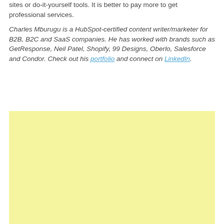sites or do-it-yourself tools. It is better to pay more to get professional services.
Charles Mburugu is a HubSpot-certified content writer/marketer for B2B, B2C and SaaS companies. He has worked with brands such as GetResponse, Neil Patel, Shopify, 99 Designs, Oberlo, Salesforce and Condor. Check out his portfolio and connect on LinkedIn.
[Figure (other): Yellow advertisement placeholder box]